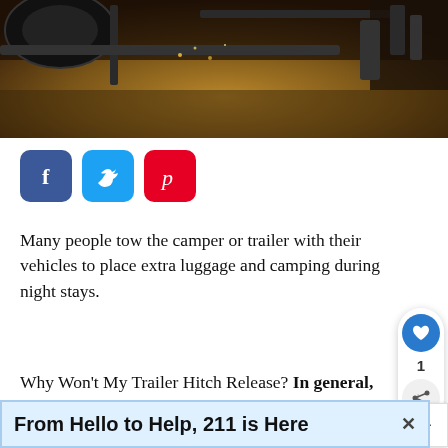[Figure (photo): Undercarriage of a vehicle or trailer viewed from below, showing dark mechanical components against a warm-toned ground surface]
[Figure (infographic): Three social media share buttons: Facebook (blue), Twitter (light blue), Pinterest (red)]
Many people tow the camper or trailer with their vehicles to place extra luggage and camping during night stays.
Why Won't My Trailer Hitch Release? In general, the trailer hitch won't release quick of
[Figure (infographic): Like/share widget showing a heart icon with count 1 and a share icon]
[Figure (infographic): What's Next panel showing 'Why Won't My Trailer Light...' teaser]
From Hello to Help, 211 is Here